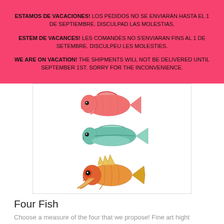ESTAMOS DE VACACIONES! LOS PEDIDOS NO SE ENVIARÁN HASTA EL 1 DE SEPTIEMBRE. DISCULPAD LAS MOLESTIAS. ESTEM DE VACANCES! LES COMANDES NO S'ENVIARAN FINS AL 1 DE SETEMBRE. DISCULPEU LES MOLESTIES. WE ARE ON VACATION! THE SHIPMENTS WILL NOT BE DELIVERED UNTIL SEPTEMBER 1ST. SORRY FOR THE INCONVENIENCE.
[Figure (illustration): Three fish illustrations stacked vertically: a red/pink fish at top, a teal/green fish in the middle, and an orange/yellow decorative fish at the bottom, all shown in side profile view.]
Four Fish
Choose a measure of the four that we propose! Fine art hight quality Giclée print...
25,00 €